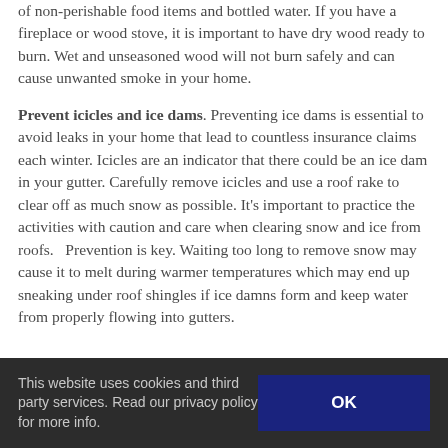of non-perishable food items and bottled water. If you have a fireplace or wood stove, it is important to have dry wood ready to burn. Wet and unseasoned wood will not burn safely and can cause unwanted smoke in your home.
Prevent icicles and ice dams. Preventing ice dams is essential to avoid leaks in your home that lead to countless insurance claims each winter. Icicles are an indicator that there could be an ice dam in your gutter. Carefully remove icicles and use a roof rake to clear off as much snow as possible. It's important to practice the activities with caution and care when clearing snow and ice from roofs.  Prevention is key. Waiting too long to remove snow may cause it to melt during warmer temperatures which may end up sneaking under roof shingles if ice damns form and keep water from properly flowing into gutters.
This website uses cookies and third party services. Read our privacy policy for more info.